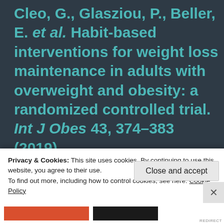Cleo, G., Glasziou, P., Beller, E. et al. Habit-based interventions for weight loss maintenance in adults with overweight and obesity: a randomized controlled trial. Int J Obes 43, 374–383 (2019). https://doi.org/10.1038/s41366-018-0067-4
Privacy & Cookies: This site uses cookies. By continuing to use this website, you agree to their use.
To find out more, including how to control cookies, see here: Cookie Policy
Close and accept